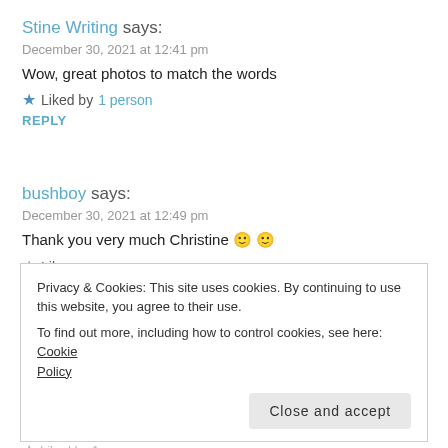Stine Writing says:
December 30, 2021 at 12:41 pm
Wow, great photos to match the words
★ Liked by 1 person
REPLY
bushboy says:
December 30, 2021 at 12:49 pm
Thank you very much Christine 🙂 🙂
★ Like
REPLY
Privacy & Cookies: This site uses cookies. By continuing to use this website, you agree to their use.
To find out more, including how to control cookies, see here: Cookie Policy
Close and accept
★ Liked by 1 person